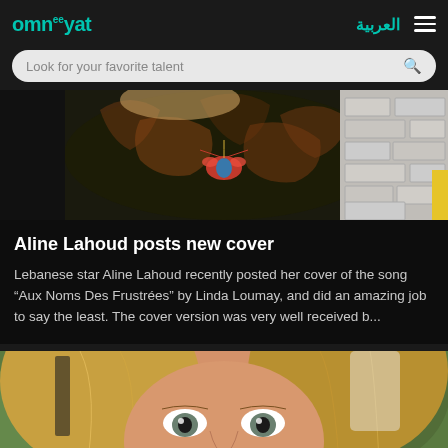omneeyat | العربية | Look for your favorite talent
[Figure (photo): Close-up photo of a woman wearing a dark patterned blouse with an ornate insect brooch/pendant necklace, in front of a white brick wall background]
Aline Lahoud posts new cover
Lebanese star Aline Lahoud recently posted her cover of the song "Aux Noms Des Frustrées" by Linda Loumay, and did an amazing job to say the least. The cover version was very well received b...
[Figure (photo): Close-up portrait of a young woman with blonde highlighted hair and light eyes, looking directly at camera with a slight smile]